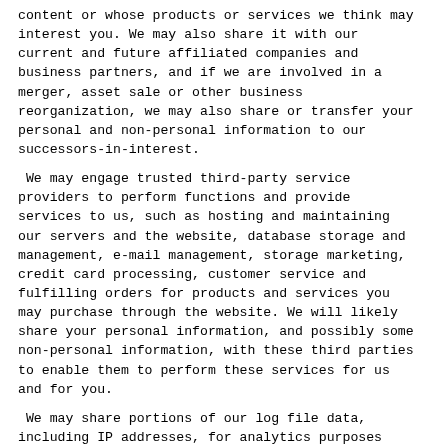content or whose products or services we think may interest you. We may also share it with our current and future affiliated companies and business partners, and if we are involved in a merger, asset sale or other business reorganization, we may also share or transfer your personal and non-personal information to our successors-in-interest.
We may engage trusted third-party service providers to perform functions and provide services to us, such as hosting and maintaining our servers and the website, database storage and management, e-mail management, storage marketing, credit card processing, customer service and fulfilling orders for products and services you may purchase through the website. We will likely share your personal information, and possibly some non-personal information, with these third parties to enable them to perform these services for us and for you.
We may share portions of our log file data, including IP addresses, for analytics purposes